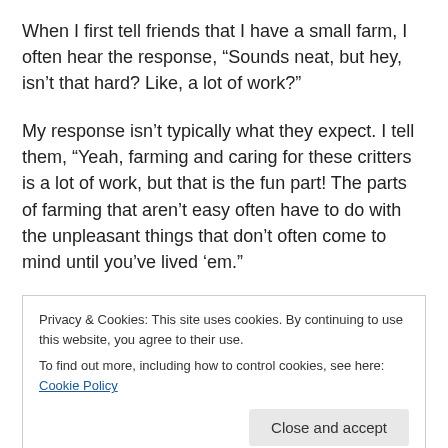When I first tell friends that I have a small farm, I often hear the response, “Sounds neat, but hey, isn’t that hard? Like, a lot of work?”
My response isn’t typically what they expect. I tell them, “Yeah, farming and caring for these critters is a lot of work, but that is the fun part! The parts of farming that aren’t easy often have to do with the unpleasant things that don’t often come to mind until you’ve lived ’em.”
We’ve been doing this for about three years, and we’ve experienced great joy... The first time you have lambs
Privacy & Cookies: This site uses cookies. By continuing to use this website, you agree to their use.
To find out more, including how to control cookies, see here: Cookie Policy
Close and accept
over to enjoy your space, comforts, and good eats.